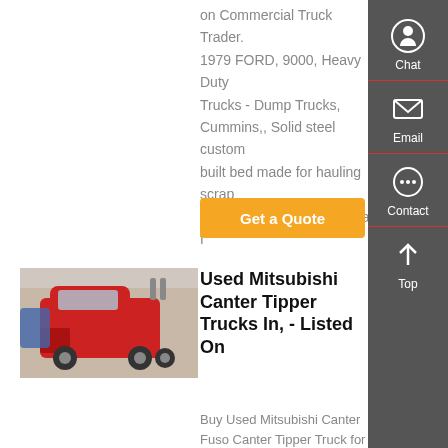on Commercial Truck Trader. 1979 FORD, 9000, Heavy Duty Trucks - Dump Trucks, Cummins,, Solid steel custom built bed made for hauling scrap iron, this unit would make a great f
Get a Quote
[Figure (photo): Red Sinotruk HOWO heavy duty truck tractor unit parked in a yard with blue vehicles in background]
Used Mitsubishi Canter Tipper Trucks In, - Listed On
Buy Used Mitsubishi Canter Fuso Canter Tipper Truck for